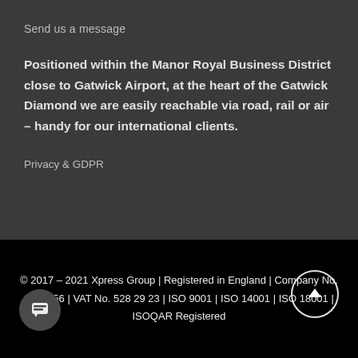Send us a message
Positioned within the Manor Royal Business District close to Gatwick Airport, at the heart of the Gatwick Diamond we are easily reachable via road, rail or air – handy for our international clients.
Privacy & GDPR
© 2017 – 2021 Xpress Group | Registered in England | Company No. 2521856 | VAT No. 528 29 23 | ISO 9001 | ISO 14001 | ISO 18001 | ISOQAR Registered